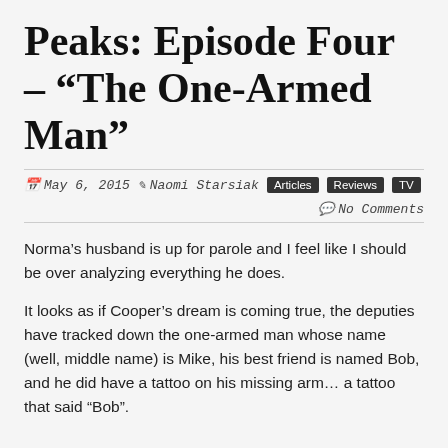Peaks: Episode Four – “The One-Armed Man”
📅 May 6, 2015  ✏ Naomi Starsiak  Articles  Reviews  TV  💬 No Comments
Norma’s husband is up for parole and I feel like I should be over analyzing everything he does.
It looks as if Cooper's dream is coming true, the deputies have tracked down the one-armed man whose name (well, middle name) is Mike, his best friend is named Bob, and he did have a tattoo on his missing arm… a tattoo that said “Bob”.